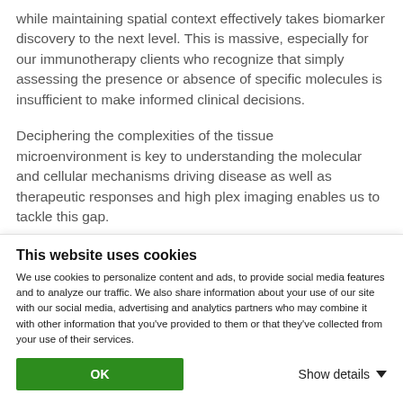while maintaining spatial context effectively takes biomarker discovery to the next level. This is massive, especially for our immunotherapy clients who recognize that simply assessing the presence or absence of specific molecules is insufficient to make informed clinical decisions.
Deciphering the complexities of the tissue microenvironment is key to understanding the molecular and cellular mechanisms driving disease as well as therapeutic responses and high plex imaging enables us to tackle this gap.
This website uses cookies
We use cookies to personalize content and ads, to provide social media features and to analyze our traffic. We also share information about your use of our site with our social media, advertising and analytics partners who may combine it with other information that you've provided to them or that they've collected from your use of their services.
OK
Show details